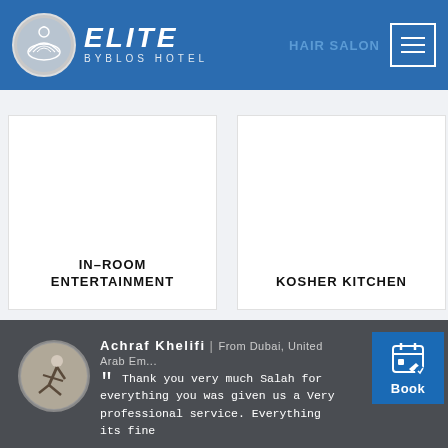ELITE BYBLOS HOTEL | HAIR SALON
[Figure (screenshot): IN-ROOM ENTERTAINMENT card — white card with bold uppercase text]
[Figure (screenshot): KOSHER KITCHEN card — white card with bold uppercase text]
Achraf Khelifi | From Dubai, United Arab Emirates
“ Thank you very much Salah for everything you was given us a Very professional service. Everything its fine